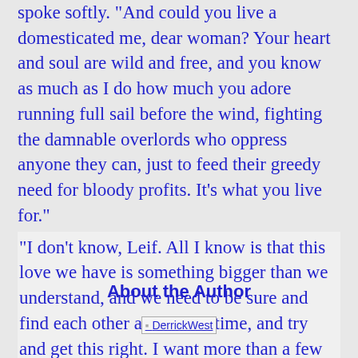spoke softly. "And could you live a domesticated me, dear woman? Your heart and soul are wild and free, and you know as much as I do how much you adore running full sail before the wind, fighting the damnable overlords who oppress anyone they can, just to feed their greedy need for bloody profits. It's what you live for."
“I don’t know, Leif. All I know is that this love we have is something bigger than we understand, and we need to be sure and find each other again next time, and try and get this right. I want more than a few years with you next time. I want a lifetime with you.”
About the Author
[Figure (photo): Author photo of DerrickWest]